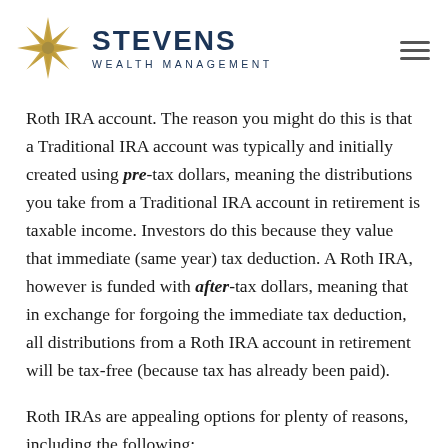STEVENS WEALTH MANAGEMENT
Roth IRA account. The reason you might do this is that a Traditional IRA account was typically and initially created using pre-tax dollars, meaning the distributions you take from a Traditional IRA account in retirement is taxable income. Investors do this because they value that immediate (same year) tax deduction. A Roth IRA, however is funded with after-tax dollars, meaning that in exchange for forgoing the immediate tax deduction, all distributions from a Roth IRA account in retirement will be tax-free (because tax has already been paid).
Roth IRAs are appealing options for plenty of reasons, including the following: